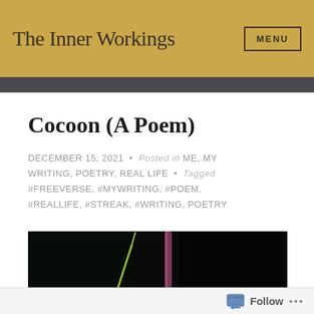The Inner Workings   MENU
Cocoon (A Poem)
DECEMBER 15, 2021 • Posted in ME, MY WRITING, POETRY, REAL LIFE • Tagged #FREEVERSE, #MYWRITING, #POEM, #REALLIFE, #STREAK, #WRITING, POETRY
[Figure (photo): Close-up photo of plant stems or cocoon-like natural forms against a dark black background. A green pointed stem and a reddish-purple vertical stem are visible.]
Follow ...